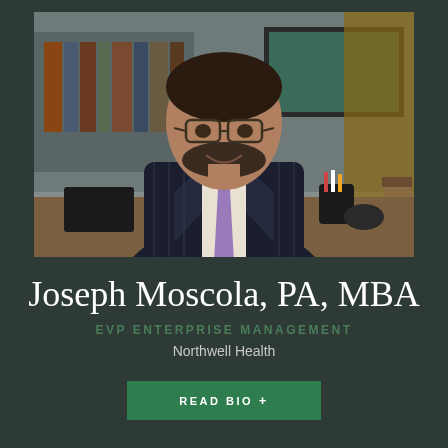[Figure (photo): Portrait photo of Joseph Moscola, PA, MBA, a man in a dark pinstripe suit with a purple tie and glasses, seated in an office with bookshelves and a desk in the background.]
Joseph Moscola, PA, MBA
EVP ENTERPRISE MANAGEMENT
Northwell Health
READ BIO +